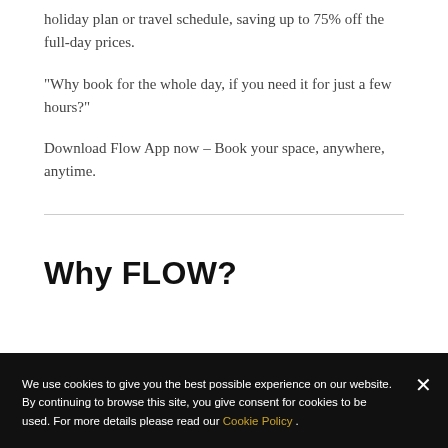holiday plan or travel schedule, saving up to 75% off the full-day prices.
“Why book for the whole day, if you need it for just a few hours?”
Download Flow App now – Book your space, anywhere, anytime.
Why FLOW?
We use cookies to give you the best possible experience on our website. By continuing to browse this site, you give consent for cookies to be used. For more details please read our Cookie Policy .